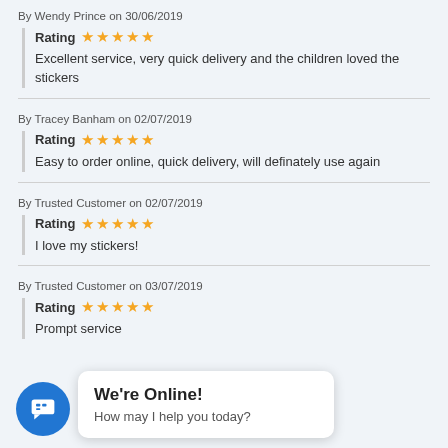By Wendy Prince on 30/06/2019
Rating ★★★★★
Excellent service, very quick delivery and the children loved the stickers
By Tracey Banham on 02/07/2019
Rating ★★★★★
Easy to order online, quick delivery, will definately use again
By Trusted Customer on 02/07/2019
Rating ★★★★★
I love my stickers!
By Trusted Customer on 03/07/2019
Rating ★★★★★
Prompt service
[Figure (infographic): Chat widget overlay: blue circle button with chat icon, white bubble saying 'We're Online! How may I help you today?' signed Samanth...]